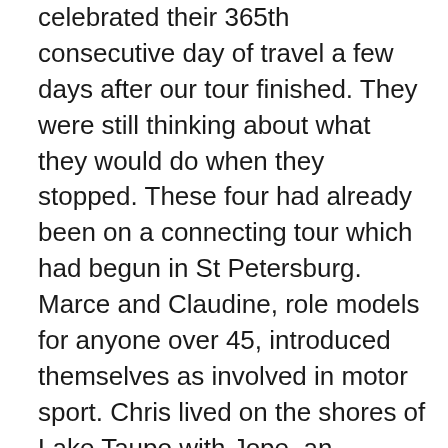celebrated their 365th consecutive day of travel a few days after our tour finished. They were still thinking about what they would do when they stopped. These four had already been on a connecting tour which had begun in St Petersburg. Marce and Claudine, role models for anyone over 45, introduced themselves as involved in motor sport. Chris lived on the shores of Lake Taupo with Jope, an engineer who had begun life in Holland before living in NZ for 30 or so years. JoNette was part of an Iowan farming family who had been doing some preliminary scouting with Lutheran contacts in central Europe. Marta in her late 20s from Poland was our guide.
There are 1000 ways to travel. More. As many as you can think of. But somehow we were the customers Intrepid were expecting. They had found our pitch. Very good locations to stop, places you wouldn't necessarily find